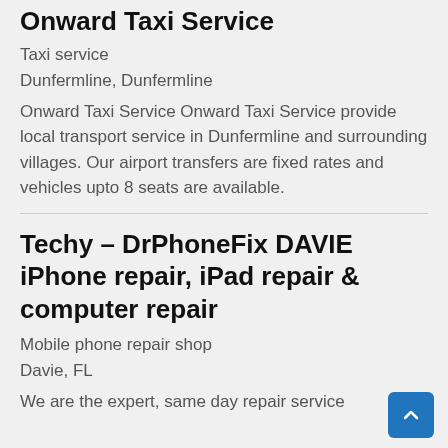Onward Taxi Service
Taxi service
Dunfermline, Dunfermline
Onward Taxi Service Onward Taxi Service provide local transport service in Dunfermline and surrounding villages. Our airport transfers are fixed rates and vehicles upto 8 seats are available.
Techy – DrPhoneFix DAVIE iPhone repair, iPad repair & computer repair
Mobile phone repair shop
Davie, FL
We are the expert, same day repair service